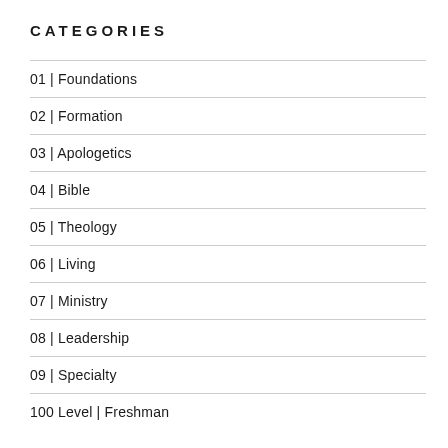CATEGORIES
01 | Foundations
02 | Formation
03 | Apologetics
04 | Bible
05 | Theology
06 | Living
07 | Ministry
08 | Leadership
09 | Specialty
100 Level | Freshman